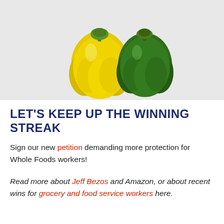[Figure (photo): Top-down photo of yellow and green bell peppers on a white/light gray background]
LET'S KEEP UP THE WINNING STREAK
Sign our new petition demanding more protection for Whole Foods workers!
Read more about Jeff Bezos and Amazon, or about recent wins for grocery and food service workers here.